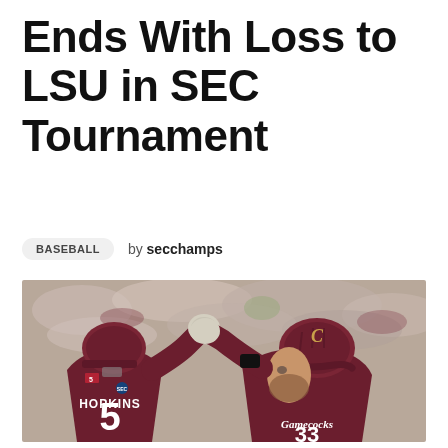Ends With Loss to LSU in SEC Tournament
BASEBALL by secchamps
[Figure (photo): Two South Carolina Gamecocks baseball players in maroon uniforms fist-bumping. Player on left is #5 Hopkins wearing a maroon batting helmet. Player on right #33 wears a Gamecocks jersey and maroon helmet. Crowd visible in blurred background.]